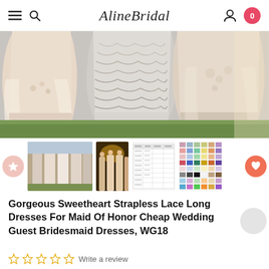AlineBridal
[Figure (photo): Bottom half of wedding/bridesmaid dresses in blush and lace tones, standing on green grass. Multiple gowns with layered tulle and lace details are visible.]
[Figure (photo): Thumbnail 1: Group of bridesmaids in light pink/champagne dresses]
[Figure (photo): Thumbnail 2: Bridesmaids in dresses indoors with warm lighting]
[Figure (photo): Thumbnail 3: Size chart or measurement guide]
[Figure (photo): Thumbnail 4: Color swatch chart]
Gorgeous Sweetheart Strapless Lace Long Dresses For Maid Of Honor Cheap Wedding Guest Bridesmaid Dresses, WG18
Write a review